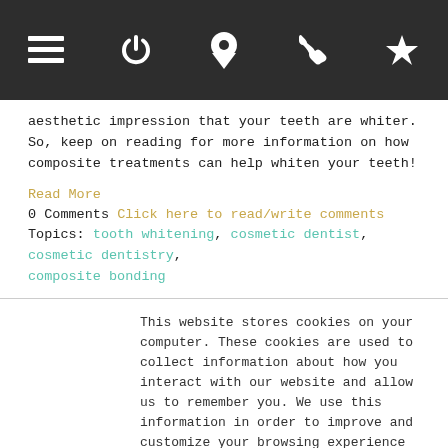Navigation bar with menu, power, location, phone, and star icons
aesthetic impression that your teeth are whiter. So, keep on reading for more information on how composite treatments can help whiten your teeth!
Read More
0 Comments Click here to read/write comments
Topics: tooth whitening, cosmetic dentist, cosmetic dentistry, composite bonding
This website stores cookies on your computer. These cookies are used to collect information about how you interact with our website and allow us to remember you. We use this information in order to improve and customize your browsing experience and for analytics and metrics about our visitors both on this website and other media. To find out more about the cookies we use, see our Privacy Policy.
Accept